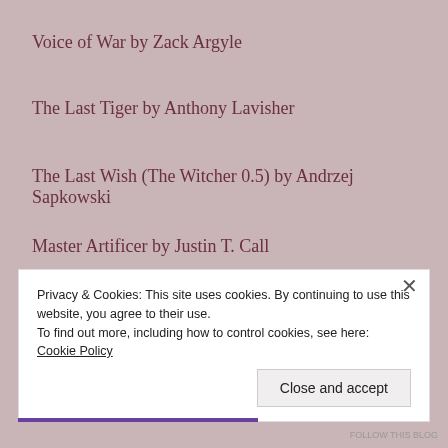Voice of War by Zack Argyle
The Last Tiger by Anthony Lavisher
The Last Wish (The Witcher 0.5) by Andrzej Sapkowski
Master Artificer by Justin T. Call
The Last Prince by E.G. Radcliff
Privacy & Cookies: This site uses cookies. By continuing to use this website, you agree to their use.
To find out more, including how to control cookies, see here: Cookie Policy
Close and accept